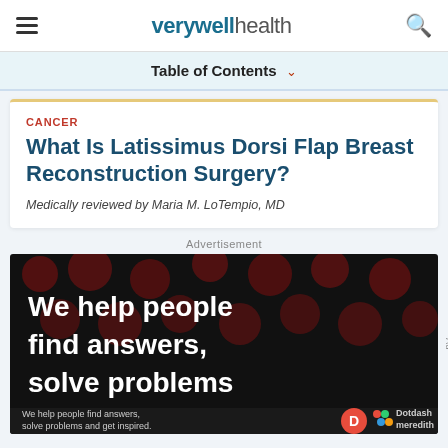verywell health
Table of Contents
CANCER
What Is Latissimus Dorsi Flap Breast Reconstruction Surgery?
Medically reviewed by Maria M. LoTempio, MD
Advertisement
[Figure (other): Advertisement banner for Dotdash Meredith: 'We help people find answers, solve problems' on dark background with red dot pattern]
We help people find answers, solve problems and get inspired. Dotdash meredith